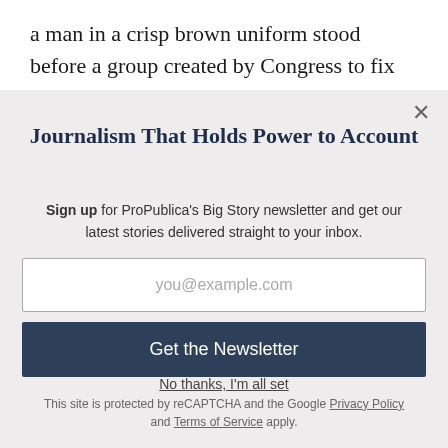a man in a crisp brown uniform stood before a group created by Congress to fix rural Alaska's lack of cops. In his soft-spoken way, Simeon Askoak explained his
Journalism That Holds Power to Account
Sign up for ProPublica's Big Story newsletter and get our latest stories delivered straight to your inbox.
you@example.com
Get the Newsletter
No thanks, I'm all set
This site is protected by reCAPTCHA and the Google Privacy Policy and Terms of Service apply.